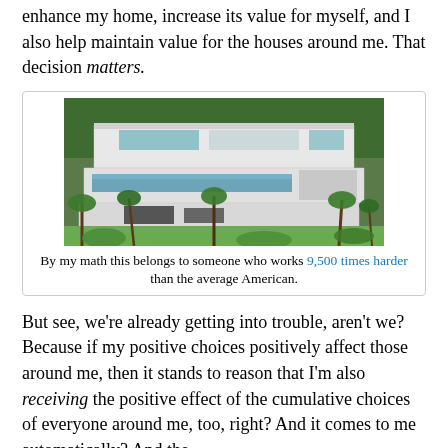enhance my home, increase its value for myself, and I also help maintain value for the houses around me. That decision matters.
[Figure (photo): Aerial/elevated view of a large modern luxury mansion with white exterior, multiple terraces, a large swimming pool, and palm trees surrounding it, with lush greenery in the background.]
By my math this belongs to someone who works 9,500 times harder than the average American.
But see, we’re already getting into trouble, aren’t we? Because if my positive choices positively affect those around me, then it stands to reason that I’m also receiving the positive effect of the cumulative choices of everyone around me, too, right? And it comes to me automatically? And the